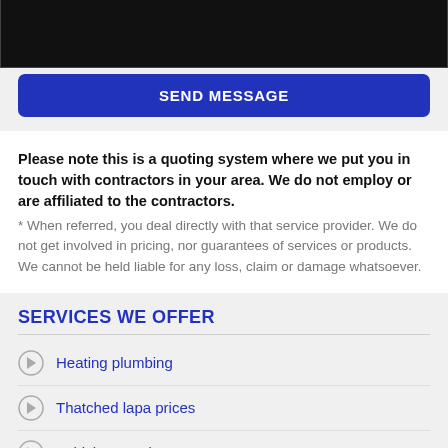[Figure (screenshot): Black text area input field (message compose box)]
SEND MESSAGE
Please note this is a quoting system where we put you in touch with contractors in your area. We do not employ or are affiliated to the contractors.
* When referred, you deal directly with that service provider. We do not get involved in pricing, nor guarantees of services or products. We cannot be held liable for any loss, claim or damage whatsoever.
SERVICES WE OFFER
Heating plumbing
Thatched lapa prices
Vehicle pawn loans
Fix garage doors